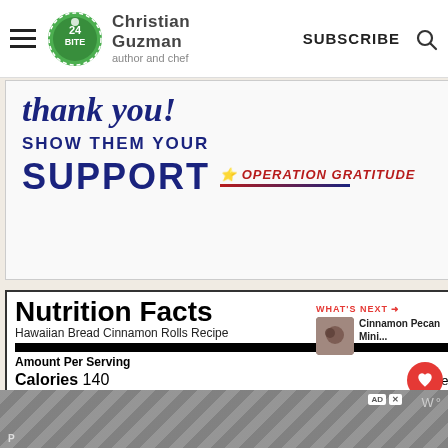Christian Guzman author and chef | SUBSCRIBE
[Figure (illustration): Thank you! Show them your SUPPORT - Operation Gratitude advertisement banner]
| Nutrient | Amount | % Daily Value |
| --- | --- | --- |
| Nutrition Facts |  |  |
| Hawaiian Bread Cinnamon Rolls Recipe |  |  |
| Amount Per Serving |  |  |
| Calories 140 | Calories from Fat 27 |  |
|  | % Daily Value* |  |
| Fat 3g |  | 5% |
| Saturated Fat 2g |  | 13% |
| Sodium 151mg |  | 7% |
| Carbohydrates 25g |  | 8% |